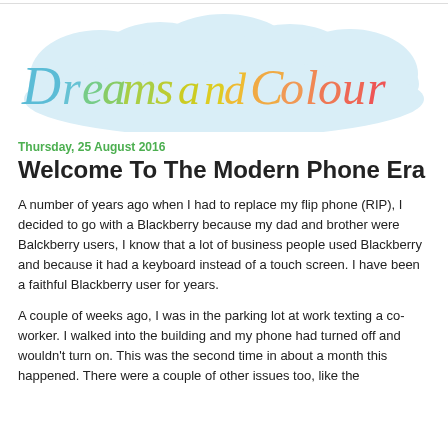[Figure (logo): Dreams and Colour blog logo with colorful cursive text on a light blue cloud shape background]
Thursday, 25 August 2016
Welcome To The Modern Phone Era
A number of years ago when I had to replace my flip phone (RIP), I decided to go with a Blackberry because my dad and brother were Balckberry users, I know that a lot of business people used Blackberry and because it had a keyboard instead of a touch screen. I have been a faithful Blackberry user for years.
A couple of weeks ago, I was in the parking lot at work texting a co-worker. I walked into the building and my phone had turned off and wouldn't turn on. This was the second time in about a month this happened. There were a couple of other issues too, like the